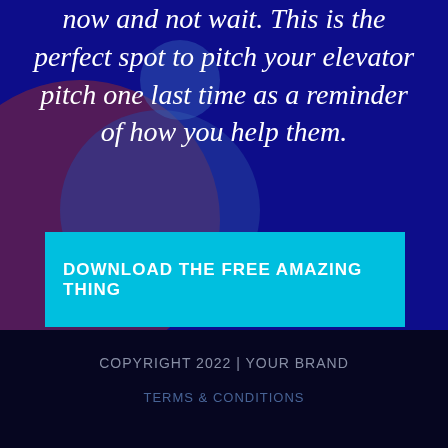now and not wait. This is the perfect spot to pitch your elevator pitch one last time as a reminder of how you help them.
DOWNLOAD THE FREE AMAZING THING
COPYRIGHT 2022 | YOUR BRAND
TERMS & CONDITIONS